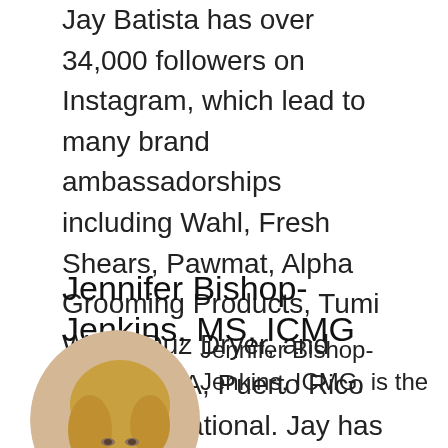Jay Batista has over 34,000 followers on Instagram, which lead to many brand ambassadorships including Wahl, Fresh Shears, Pawmat, Alpha Grooming Products, Tumi Wear, Duz Dryer, and Hydra USA, Puerto Rico and International. Jay has taught in Puerto Rico, the US, and Columbia featuring unique Salon and Asian Freestyle trims.
Jennifer Bishop-Jenkins, MS, ICMG
[Figure (photo): Circular portrait photo of Jennifer Bishop-Jenkins, a woman with blonde/light brown hair]
Jennifer Bishop-Jenkins, ICMG, is the